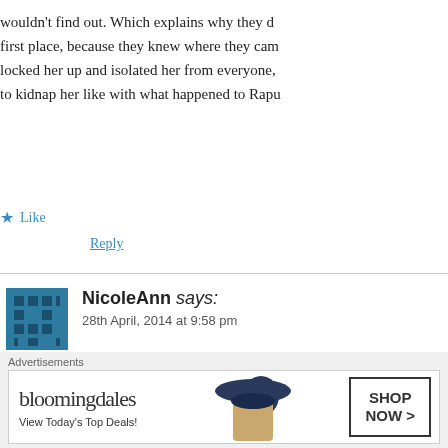wouldn't find out. Which explains why they d… first place, because they knew where they cam… locked her up and isolated her from everyone, … to kidnap her like with what happened to Rapu…
★ Like
Reply
NicoleAnn says:
28th April, 2014 at 9:58 pm
About the Tarzan theory, what if that comment by the d… in development.
★ Like
Advertisements
bloomingdales – View Today's Top Deals! – SHOP NOW >